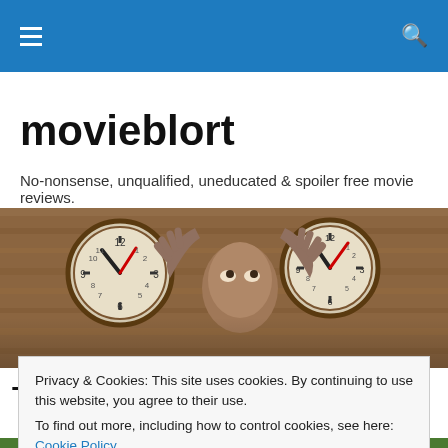movieblort navigation bar with hamburger menu and search icon
movieblort
No-nonsense, unqualified, uneducated & spoiler free movie reviews.
[Figure (photo): An older man looking upward with both hands raised, clocks visible on a wooden wall behind him.]
The Spectacular Now (2013)
Privacy & Cookies: This site uses cookies. By continuing to use this website, you agree to their use.
To find out more, including how to control cookies, see here: Cookie Policy
Close and accept